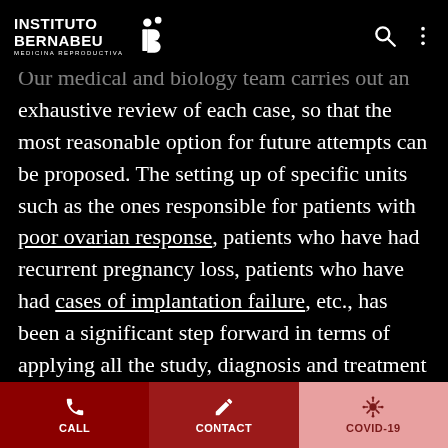Instituto Bernabeu - Medicina Reproductiva
Our medical and biology team carries out an exhaustive review of each case, so that the most reasonable option for future attempts can be proposed. The setting up of specific units such as the ones responsible for patients with poor ovarian response, patients who have had recurrent pregnancy loss, patients who have had cases of implantation failure, etc., has been a significant step forward in terms of applying all the study, diagnosis and treatment techniques currently available and which help to improve results. Following a period of personal healing which will vary from case to case, patients will need to reflect and decide if they are
CALL | CONTACT | COVID-19